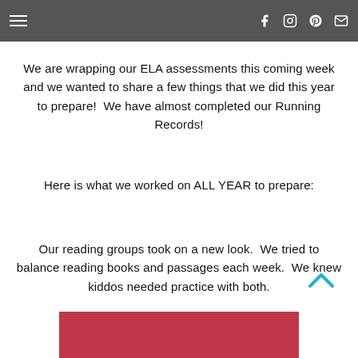Navigation bar with hamburger menu and social icons (Facebook, Instagram, Pinterest, Email)
We are wrapping our ELA assessments this coming week and we wanted to share a few things that we did this year to prepare!  We have almost completed our Running Records!
Here is what we worked on ALL YEAR to prepare:
Our reading groups took on a new look.  We tried to balance reading books and passages each week.  We knew kiddos needed practice with both.
[Figure (photo): Partial photo visible at bottom of page with red/pink background]